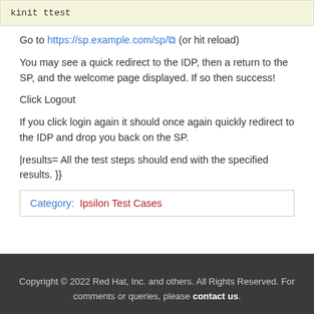kinit ttest
Go to https://sp.example.com/sp/ (or hit reload)
You may see a quick redirect to the IDP, then a return to the SP, and the welcome page displayed. If so then success!
Click Logout
If you click login again it should once again quickly redirect to the IDP and drop you back on the SP.
|results= All the test steps should end with the specified results. }}
Category:  Ipsilon Test Cases
Copyright © 2022 Red Hat, Inc. and others. All Rights Reserved. For comments or queries, please contact us.